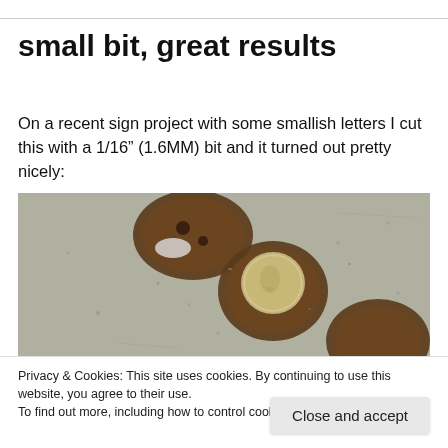small bit, great results
On a recent sign project with some smallish letters I cut this with a 1/16” (1.6MM) bit and it turned out pretty nicely:
[Figure (photo): Close-up photograph of routed letters or shapes in a material, with a coin (dime) placed for scale, showing the fine detail achievable with a 1/16 inch bit. The routed cavities reveal a brown substrate beneath a grey/white surface.]
Privacy & Cookies: This site uses cookies. By continuing to use this website, you agree to their use.
To find out more, including how to control cookies, see here: Cookie Policy